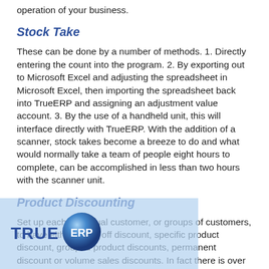operation of your business.
Stock Take
These can be done by a number of methods. 1. Directly entering the count into the program. 2. By exporting out to Microsoft Excel and adjusting the spreadsheet in Microsoft Excel, then importing the spreadsheet back into TrueERP and assigning an adjustment value account. 3. By the use of a handheld unit, this will interface directly with TrueERP. With the addition of a scanner, stock takes become a breeze to do and what would normally take a team of people eight hours to complete, can be accomplished in less than two hours with the scanner unit.
Product Discounting
Set up each individual customer, or groups of customers, to have either a one off discount, specific product discount, grouped product discounts, permanent discount or volume sales discounts. In fact there is over a different ways of structuring discounts, from customers to suppliers to pro
[Figure (logo): TrueERP logo overlay with blue sphere icon and text TRUE ERP on a light blue semi-transparent background]